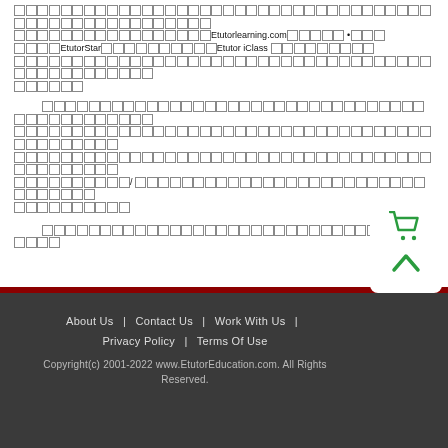[Tofu characters] Etutorlearning.com [tofu] • [tofu] EtutorStar [tofu] Etutor iClass [tofu characters]
[Tofu characters paragraph 2]
[Tofu characters paragraph 3]
About Us | Contact Us | Work With Us | Privacy Policy | Terms Of Use
Copyright(c) 2001-2022 www.EtutorEducation.com. All Rights Reserved.